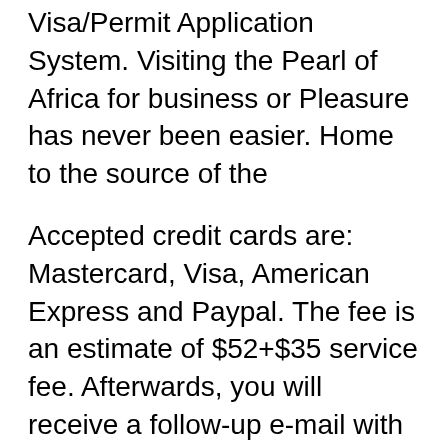Visa/Permit Application System. Visiting the Pearl of Africa for business or Pleasure has never been easier. Home to the source of the
Accepted credit cards are: Mastercard, Visa, American Express and Paypal. The fee is an estimate of $52+$35 service fee. Afterwards, you will receive a follow-up e-mail with the instructions on how to complete the process. Kenya Visa Requirements. Filled-in Kenya application form on the e-portal. Namibia visa application and support from Travisa Visa Service is fast and reliable. Apply now for business, tourist, and all travel to Namibia.